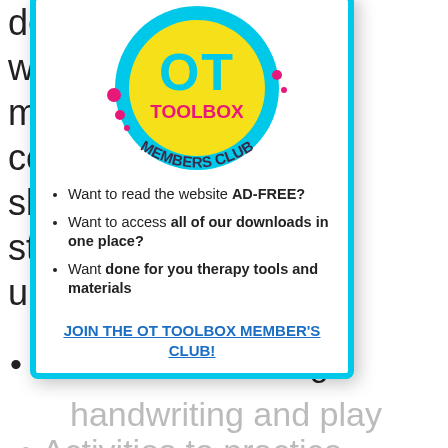development writing str motor dev considera skills. Eac strategies underlying
[Figure (logo): OT Toolbox Members Club logo - yellow circle with pink/magenta text and cyan border]
Want to read the website AD-FREE?
Want to access all of our downloads in one place?
Want done for you therapy tools and materials
JOIN THE OT TOOLBOX MEMBER'S CLUB!
Str... and... reversals
Ideas for combining
handwriting and play
Activities to practice